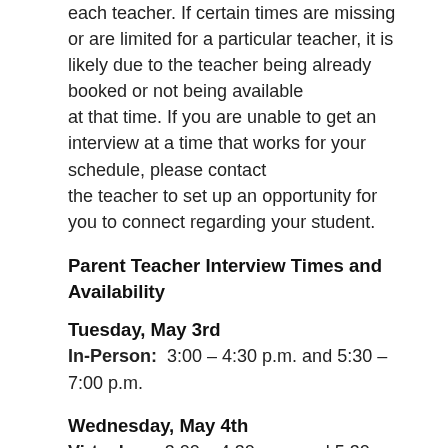each teacher. If certain times are missing or are limited for a particular teacher, it is likely due to the teacher being already booked or not being available at that time. If you are unable to get an interview at a time that works for your schedule, please contact the teacher to set up an opportunity for you to connect regarding your student.
Parent Teacher Interview Times and Availability
Tuesday, May 3rd
In-Person:  3:00 – 4:30 p.m. and 5:30 – 7:00 p.m.
Wednesday, May 4th
Virtual:       3:00 – 4:30 p.m. and 5:30 – 7:00 p.m.